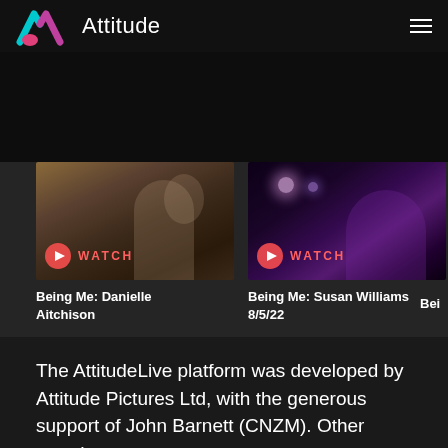[Figure (logo): Attitude logo with teal/pink A letterform and text 'Attitude']
[Figure (photo): Video thumbnail of a young woman indoors in warm lighting with 'WATCH' button overlay]
Being Me: Danielle Aitchison
[Figure (photo): Video thumbnail of a performer with colorful stage lighting and 'WATCH' button overlay]
Being Me: Susan Williams 8/5/22
The AttitudeLive platform was developed by Attitude Pictures Ltd, with the generous support of John Barnett (CNZM). Other proud supporters